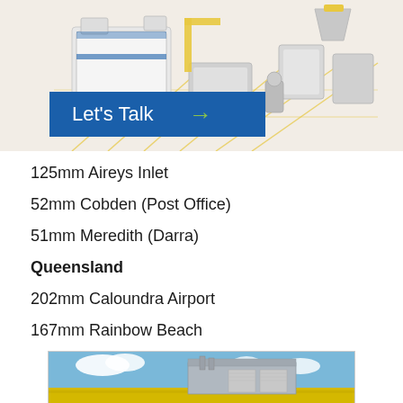[Figure (illustration): Industrial machinery and equipment illustration with a blue 'Let's Talk →' call-to-action banner overlay]
125mm Aireys Inlet
52mm Cobden (Post Office)
51mm Meredith (Darra)
Queensland
202mm Caloundra Airport
167mm Rainbow Beach
[Figure (photo): Photograph of an industrial building or facility with yellow canola fields in the foreground and blue sky with clouds]